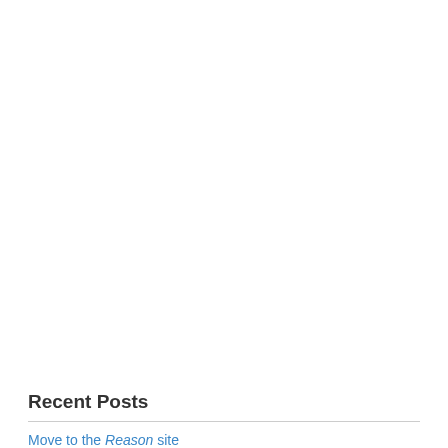Recent Posts
Move to the Reason site